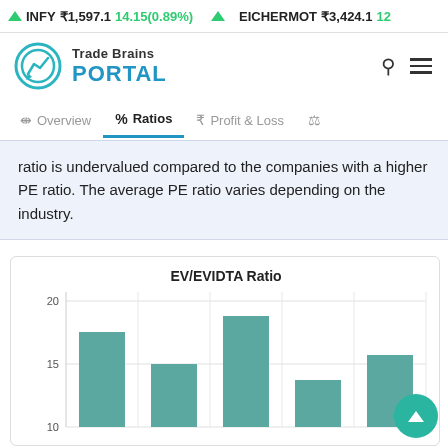INFY ₹1,597.1 14.15(0.89%) ▲   EICHERMOT ₹3,424.1 12...
[Figure (logo): Trade Brains Portal logo with teal circular chart icon]
Overview | % Ratios | ₹ Profit & Loss
ratio is undervalued compared to the companies with a higher PE ratio. The average PE ratio varies depending on the industry.
[Figure (bar-chart): EV/EVIDTA Ratio]